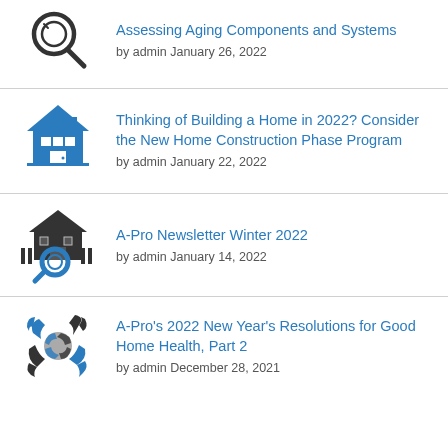Assessing Aging Components and Systems
by admin January 26, 2022
Thinking of Building a Home in 2022? Consider the New Home Construction Phase Program
by admin January 22, 2022
A-Pro Newsletter Winter 2022
by admin January 14, 2022
A-Pro's 2022 New Year's Resolutions for Good Home Health, Part 2
by admin December 28, 2021